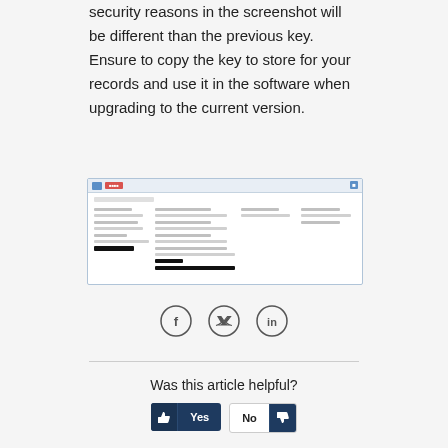security reasons in the screenshot will be different than the previous key. Ensure to copy the key to store for your records and use it in the software when upgrading to the current version.
[Figure (screenshot): A software application screenshot showing a form/data entry interface with multiple fields, labels, and some redacted (blacked out) text fields.]
[Figure (infographic): Three social sharing icons: Facebook (f), Twitter (bird), LinkedIn (in)]
Was this article helpful?
[Figure (other): Yes and No feedback buttons with thumbs up and thumbs down icons]